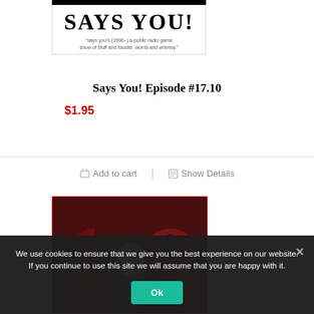[Figure (logo): Says You! radio show logo with text 'SAYS YOU!' and subtitle about public radio game show]
Says You! Episode #17.10
$1.95
Add to cart | Show Details
[Figure (photo): Product image showing large '18' numbers in dark red on a curtained background with a man in a suit standing in front]
We use cookies to ensure that we give you the best experience on our website. If you continue to use this site we will assume that you are happy with it.
Ok